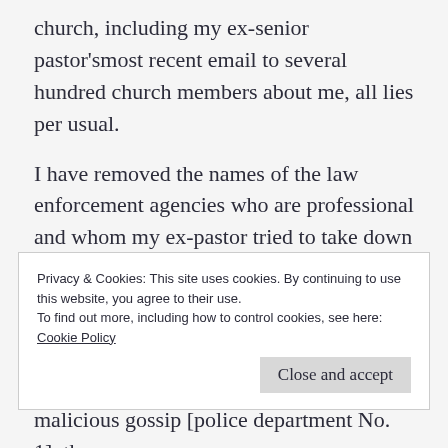church, including my ex-senior pastor’smost recent email to several hundred church members about me, all lies per usual.
I have removed the names of the law enforcement agencies who are professional and whom my ex-pastor tried to take down in his attack on me, to give him credibility:
“Dear members-
Privacy & Cookies: This site uses cookies. By continuing to use this website, you agree to their use.
To find out more, including how to control cookies, see here:
Cookie Policy
Close and accept
malicious gossip [police department No. 1], the